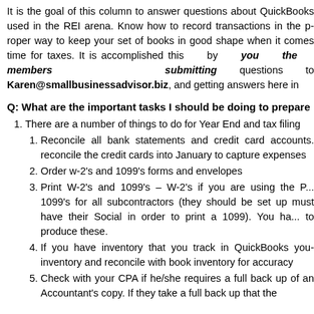It is the goal of this column to answer questions about QuickBooks used in the REI arena. Know how to record transactions in the proper way to keep your set of books in good shape when it comes time for taxes. It is accomplished this by you the members submitting questions to Karen@smallbusinessadvisor.biz, and getting answers here in
Q: What are the important tasks I should be doing to prepare
There are a number of things to do for Year End and tax filing
Reconcile all bank statements and credit card accounts. reconcile the credit cards into January to capture expenses
Order w-2's and 1099's forms and envelopes
Print W-2's and 1099's – W-2's if you are using the P... 1099's for all subcontractors (they should be set up must have their Social in order to print a 1099). You ha... to produce these.
If you have inventory that you track in QuickBooks you inventory and reconcile with book inventory for accuracy
Check with your CPA if he/she requires a full back up of an Accountant's copy. If they take a full back up that the